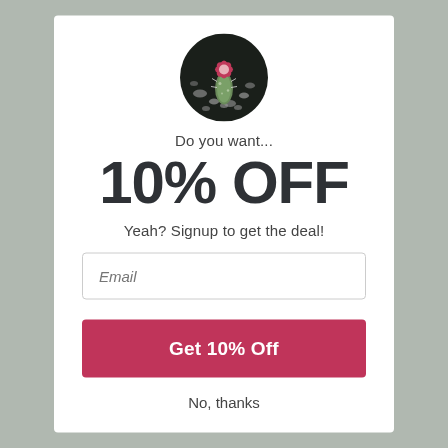[Figure (illustration): Circular logo/image of a blooming cactus with pink flower on a dark background with stones]
Do you want...
10% OFF
Yeah? Signup to get the deal!
Email (input field placeholder)
Get 10% Off
No, thanks